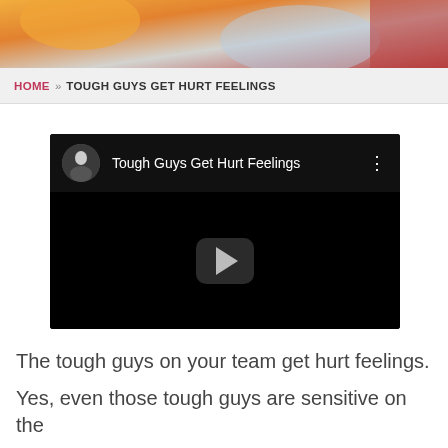[Figure (photo): Colorful banner image at the top of the page with orange, gray, and red tones]
HOME » TOUGH GUYS GET HURT FEELINGS
[Figure (screenshot): YouTube-style video player with title 'Tough Guys Get Hurt Feelings', avatar thumbnail, and a play button on black background]
The tough guys on your team get hurt feelings.
Yes, even those tough guys are sensitive on the